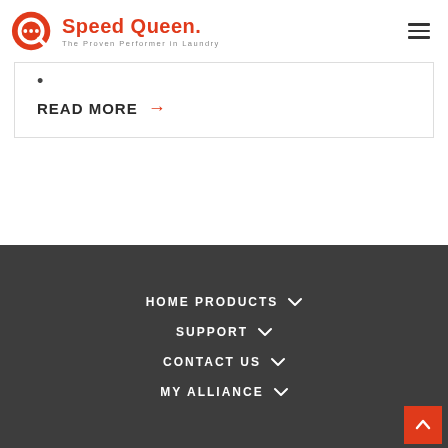[Figure (logo): Speed Queen logo — red circular Q icon with 'Speed Queen.' wordmark and tagline 'The Proven Performer in Laundry']
READ MORE →
HOME PRODUCTS ∨
SUPPORT ∨
CONTACT US ∨
MY ALLIANCE ∨
Footer navigation with back-to-top button